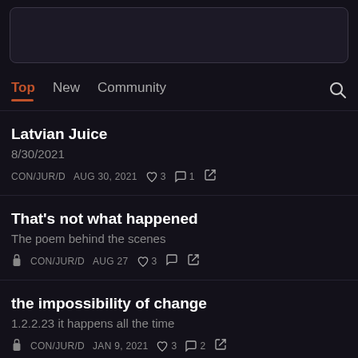[Figure (screenshot): Partial dark-themed app screenshot showing a content box at top]
Top  New  Community
Latvian Juice
8/30/2021
CON/JUR/D  AUG 30, 2021  ♡ 3  ○ 1
That's not what happened
The poem behind the scenes
🔒 CON/JUR/D  AUG 27  ♡ 3
the impossibility of change
1.2.2.23 it happens all the time
🔒 CON/JUR/D  JAN 9, 2021  ♡ 3  ○ 2